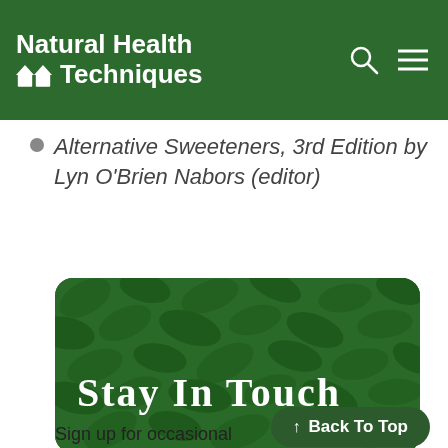Natural Health Techniques
Alternative Sweeteners, 3rd Edition by Lyn O'Brien Nabors (editor)
[Figure (illustration): Green leafy background banner with handwritten-style white text reading 'Stay In Touch']
Sign up for occasional updates/videos/tips/specials and